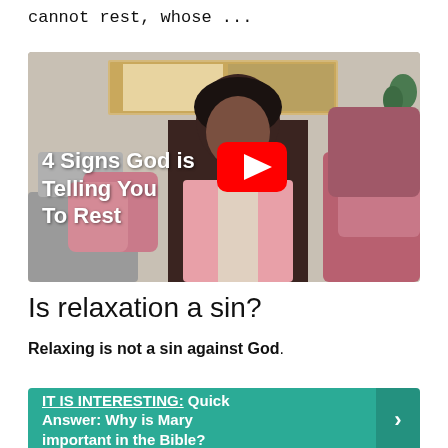cannot rest, whose ...
[Figure (screenshot): YouTube video thumbnail showing a woman in a pink blazer sitting on a couch with pink and mauve pillows. Text overlay reads '4 Signs God is Telling You To Rest' with a YouTube play button in the center.]
Is relaxation a sin?
Relaxing is not a sin against God.
IT IS INTERESTING: Quick Answer: Why is Mary important in the Bible?